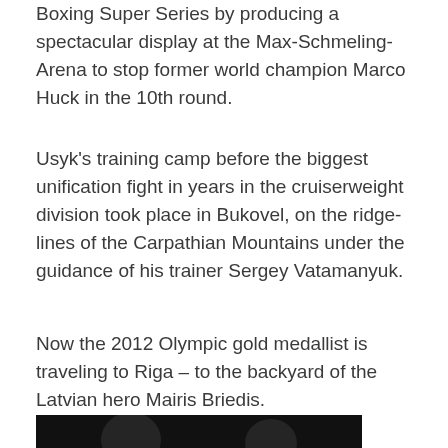Boxing Super Series by producing a spectacular display at the Max-Schmeling-Arena to stop former world champion Marco Huck in the 10th round.
Usyk's training camp before the biggest unification fight in years in the cruiserweight division took place in Bukovel, on the ridge-lines of the Carpathian Mountains under the guidance of his trainer Sergey Vatamanyuk.
Now the 2012 Olympic gold medallist is traveling to Riga – to the backyard of the Latvian hero Mairis Briedis.
[Figure (photo): Two boxers facing each other in a dark setting, one on the left and one on the right, with red and dramatic lighting effects between them.]